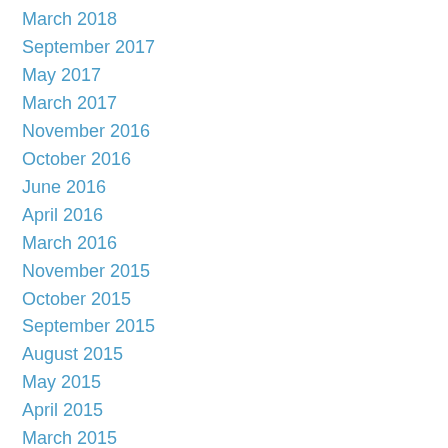March 2018
September 2017
May 2017
March 2017
November 2016
October 2016
June 2016
April 2016
March 2016
November 2015
October 2015
September 2015
August 2015
May 2015
April 2015
March 2015
February 2015
November 2014
October 2014
September 2014
July 2014